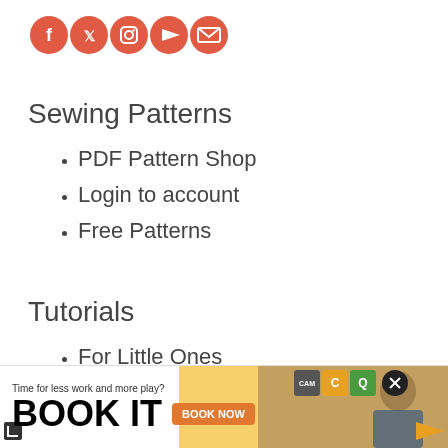[Figure (other): Social media icons row: Facebook, Twitter, Instagram, YouTube, Email — all red circular icons]
Sewing Patterns
PDF Pattern Shop
Login to account
Free Patterns
Tutorials
For Little Ones
[Figure (screenshot): Advertisement banner: 'Time for less work and more play? BOOK IT [BOOK NOW button]' with a person in background, close button, and brand logos]